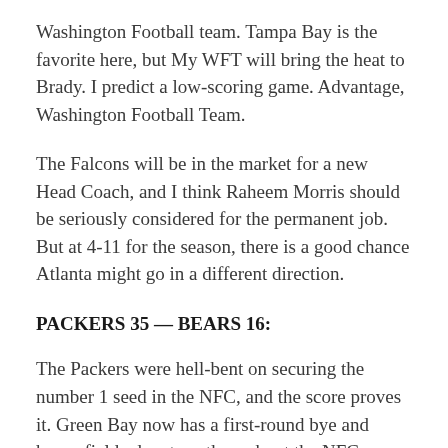Washington Football team. Tampa Bay is the favorite here, but My WFT will bring the heat to Brady. I predict a low-scoring game. Advantage, Washington Football Team.
The Falcons will be in the market for a new Head Coach, and I think Raheem Morris should be seriously considered for the permanent job. But at 4-11 for the season, there is a good chance Atlanta might go in a different direction.
PACKERS 35 — BEARS 16:
The Packers were hell-bent on securing the number 1 seed in the NFC, and the score proves it. Green Bay now has a first-round bye and home-field advantage throughout the NFC playoffs.